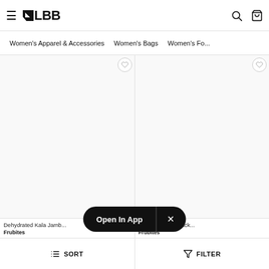≡ LBB [Search] [Bag]
Women's Apparel & Accessories   Women's Bags   Women's Fo...
[Figure (screenshot): Two product cards side by side. Left card: white background product image area with wishlist heart icon top right. Below: 'Dehydrated Kala Jamb...' product name, brand 'Frubites'. Right card: similar layout with wishlist icon, 'Crunchy Fruit Snack...' product name, brand 'Frubites'.]
Open In App  ×
Dehydrated Kala Jamb...
Frubites
Crunchy Fruit Snack...
Frubites
↓≡ SORT    ▽ FILTER